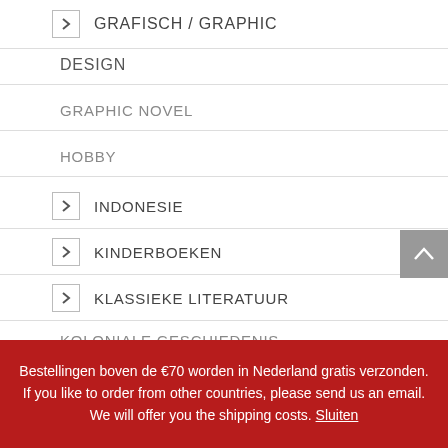GRAFISCH / GRAPHIC
DESIGN
GRAPHIC NOVEL
HOBBY
INDONESIE
KINDERBOEKEN
KLASSIEKE LITERATUUR
KOLONIALE GESCHIEDENIS
Bestellingen boven de €70 worden in Nederland gratis verzonden. If you like to order from other countries, please send us an email. We will offer you the shipping costs. Sluiten